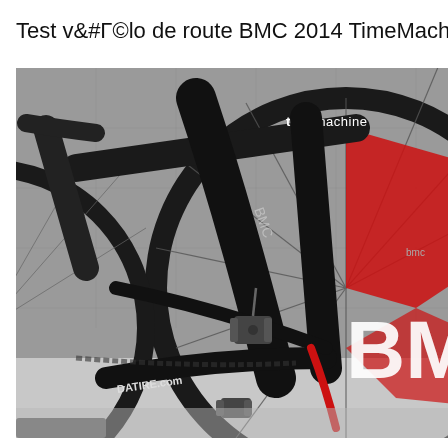Test vélo de route BMC 2014 TimeMachine TMR02
[Figure (photo): Close-up photograph of a BMC TimeMachine road bicycle frame, showing the black carbon frame with red and white accents, brake caliper, wheel spokes, and 'timemachine' text on the top tube. The tire shows 'DATIRE.com' branding.]